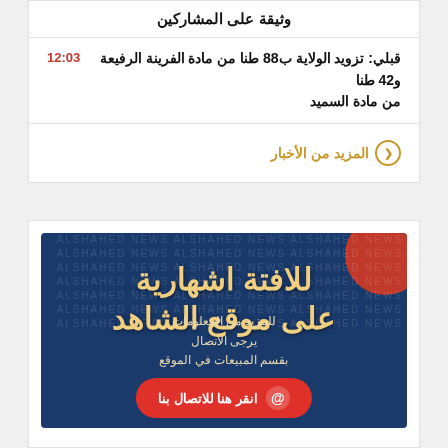وثيقة على المشاركين
12:03 قبلي: تزويد الولاية ب88 طنا من مادة الفرينة الرفيعة و42 طنا من مادة السميد
المزيد من الأخبار
[Figure (other): Advertisement banner for a website named Al-Shahed. Dark blue background with red blob. Large Arabic text: للافتة اشهارية على موقع الشاهد. Subtext: للمزيد من المعلومات يرجى الاتصال بقسم المبيعات في الموقع. Red button: انقر هنا للاتصال بنا with @ icon.]